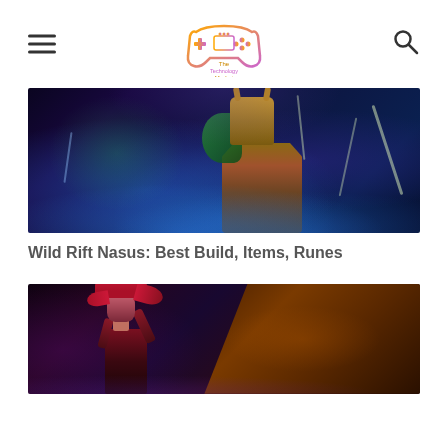The Technology Market
[Figure (illustration): League of Legends Wild Rift Nasus character artwork with blue/purple magical effects and glowing particles]
Wild Rift Nasus: Best Build, Items, Runes
[Figure (illustration): League of Legends Wild Rift female character (Vayne) with red/purple dark background and orange glowing effects]